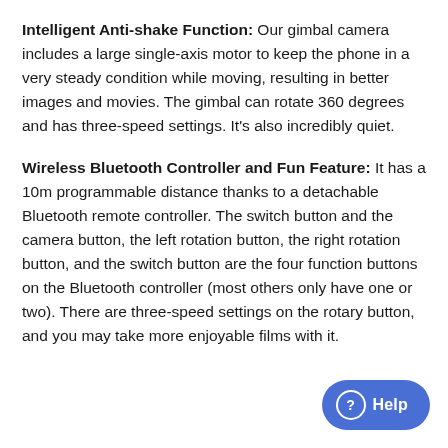Intelligent Anti-shake Function: Our gimbal camera includes a large single-axis motor to keep the phone in a very steady condition while moving, resulting in better images and movies. The gimbal can rotate 360 degrees and has three-speed settings. It's also incredibly quiet.
Wireless Bluetooth Controller and Fun Feature: It has a 10m programmable distance thanks to a detachable Bluetooth remote controller. The switch button and the camera button, the left rotation button, the right rotation button, and the switch button are the four function buttons on the Bluetooth controller (most others only have one or two). There are three-speed settings on the rotary button, and you may take more enjoyable films with it.